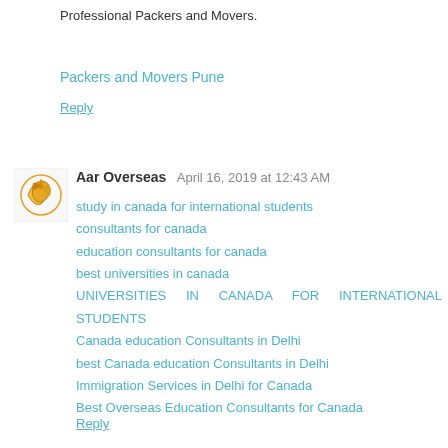Professional Packers and Movers.
Packers and Movers Pune
Reply
[Figure (logo): Aar Overseas company logo - golden swirl/globe icon]
Aar Overseas  April 16, 2019 at 12:43 AM
study in canada for international students
consultants for canada
education consultants for canada
best universities in canada
UNIVERSITIES IN CANADA FOR INTERNATIONAL STUDENTS
Canada education Consultants in Delhi
best Canada education Consultants in Delhi
Immigration Services in Delhi for Canada
Best Overseas Education Consultants for Canada
Reply